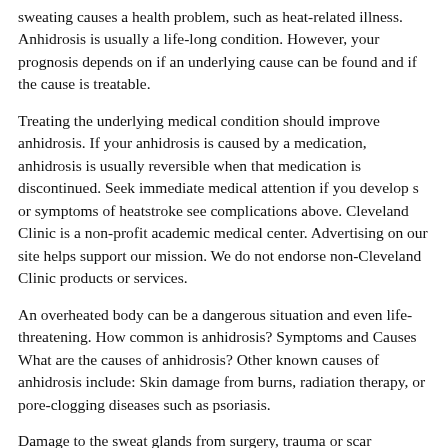sweating causes a health problem, such as heat-related illness. Anhidrosis is usually a life-long condition. However, your prognosis depends on if an underlying cause can be found and if the cause is treatable.
Treating the underlying medical condition should improve anhidrosis. If your anhidrosis is caused by a medication, anhidrosis is usually reversible when that medication is discontinued. Seek immediate medical attention if you develop s or symptoms of heatstroke see complications above. Cleveland Clinic is a non-profit academic medical center. Advertising on our site helps support our mission. We do not endorse non-Cleveland Clinic products or services.
An overheated body can be a dangerous situation and even life-threatening. How common is anhidrosis? Symptoms and Causes What are the causes of anhidrosis? Other known causes of anhidrosis include: Skin damage from burns, radiation therapy, or pore-clogging diseases such as psoriasis.
Damage to the sweat glands from surgery, trauma or scar formation. Nerve damage caused by diabetesalcoholism, and Guillain-Barre syndrome. Inherited disorder of the metabolic system Fabry disease. Connective tissue disorders, such as systemic sclerosis, systemic lupus erythematosusSjogren